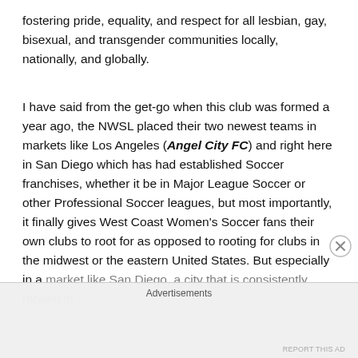fostering pride, equality, and respect for all lesbian, gay, bisexual, and transgender communities locally, nationally, and globally.
I have said from the get-go when this club was formed a year ago, the NWSL placed their two newest teams in markets like Los Angeles (Angel City FC) and right here in San Diego which has had established Soccer franchises, whether it be in Major League Soccer or other Professional Soccer leagues, but most importantly, it finally gives West Coast Women's Soccer fans their own clubs to root for as opposed to rooting for clubs in the midwest or the eastern United States. But especially in a market like San Diego, a city that is consistently ranked in
Advertisements